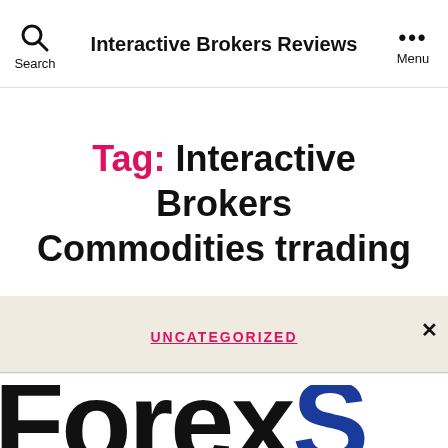Interactive Brokers Reviews
Tag: Interactive Brokers Commodities trrading
UNCATEGORIZED
[Figure (logo): ForexS logo text partially visible, large bold letters in black and blue]